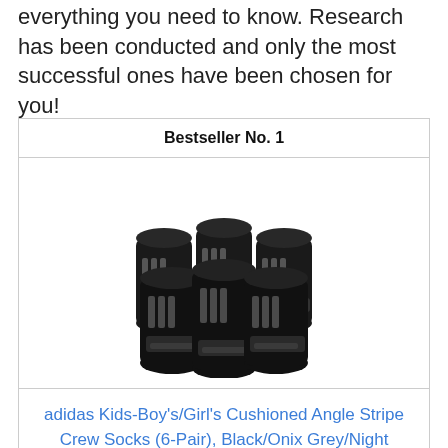everything you need to know. Research has been conducted and only the most successful ones have been chosen for you!
| Bestseller No. 1 |
| --- |
| [product image: black adidas crew socks 6-pair] |
| adidas Kids-Boy's/Girl's Cushioned Angle Stripe Crew Socks (6-Pair), Black/Onix Grey/Night Grey,... |
| Price: | $12.00 | ✓Prime |
[Figure (photo): Six black adidas cushioned crew socks arranged together showing the adidas logo and three-stripe design]
adidas Kids-Boy's/Girl's Cushioned Angle Stripe Crew Socks (6-Pair), Black/Onix Grey/Night Grey,...
Price: $12.00 ✓Prime